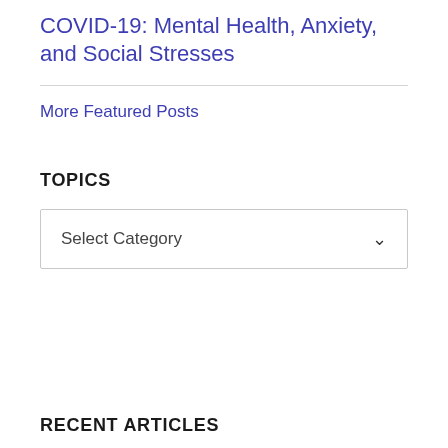COVID-19: Mental Health, Anxiety, and Social Stresses
More Featured Posts
TOPICS
Select Category
RECENT ARTICLES